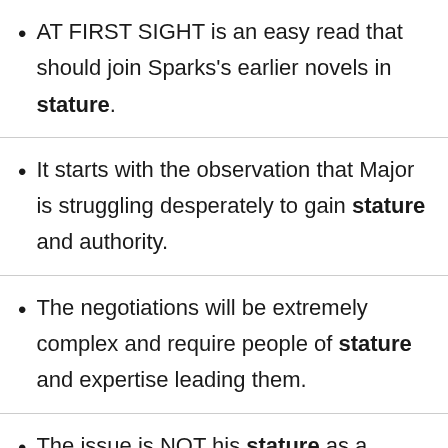AT FIRST SIGHT is an easy read that should join Sparks's earlier novels in stature.
It starts with the observation that Major is struggling desperately to gain stature and authority.
The negotiations will be extremely complex and require people of stature and expertise leading them.
The issue is NOT his stature as a